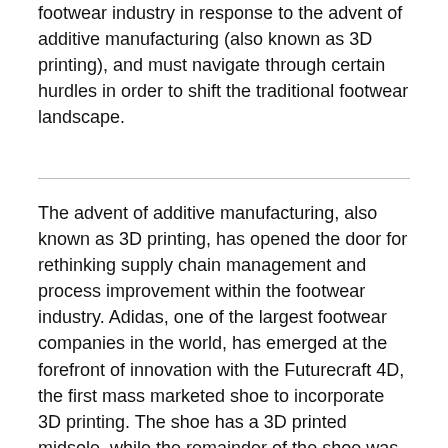footwear industry in response to the advent of additive manufacturing (also known as 3D printing), and must navigate through certain hurdles in order to shift the traditional footwear landscape.
The advent of additive manufacturing, also known as 3D printing, has opened the door for rethinking supply chain management and process improvement within the footwear industry. Adidas, one of the largest footwear companies in the world, has emerged at the forefront of innovation with the Futurecraft 4D, the first mass marketed shoe to incorporate 3D printing. The shoe has a 3D printed midsole, while the remainder of the shoe was created through traditional manufacturing processes. Through its partnership with Carbon, a 3D manufacturer, Adidas launched its initial